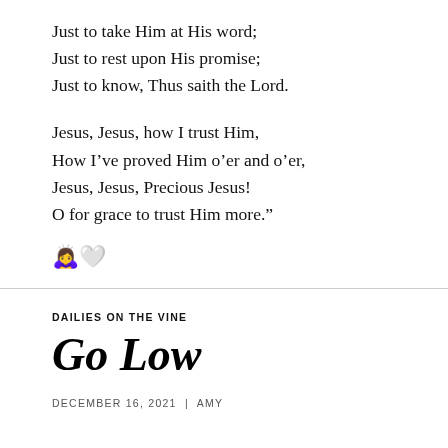Just to take Him at His word;
Just to rest upon His promise;
Just to know, Thus saith the Lord.

Jesus, Jesus, how I trust Him,
How I’ve proved Him o’er and o’er,
Jesus, Jesus, Precious Jesus!
O for grace to trust Him more.”
👼🤍
DAILIES ON THE VINE
Go Low
DECEMBER 16, 2021 | AMY